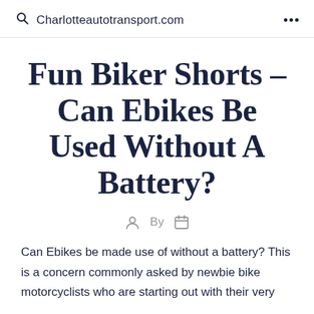Charlotteautotransport.com
Fun Biker Shorts – Can Ebikes Be Used Without A Battery?
By
Can Ebikes be made use of without a battery? This is a concern commonly asked by newbie bike motorcyclists who are starting out with their very